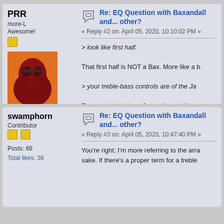PRR
more-L
Awesome!
Posts: 14588
Total likes: 4572
Paul R. - Maine USA
Re: EQ Question with Baxandall and... other?
« Reply #2 on: April 05, 2020, 10:10:02 PM »
> look like first half.

That first half is NOT a Bax. More like a b...

> your treble-bass controls are of the Ja...

To even start to be a James it would hav... not a low-Z input. (Yes, a low-Z loaded "J...

"Passive Bax" is nonsense.

« Last Edit: April 05, 2020, 10:29:02 PM by PRR...
SUPPORTER
swamphorn
Contributor
Posts: 66
Total likes: 36
Re: EQ Question with Baxandall and... other?
« Reply #3 on: April 05, 2020, 10:47:40 PM »
You're right; I'm more referring to the arra... sake. If there's a proper term for a treble...